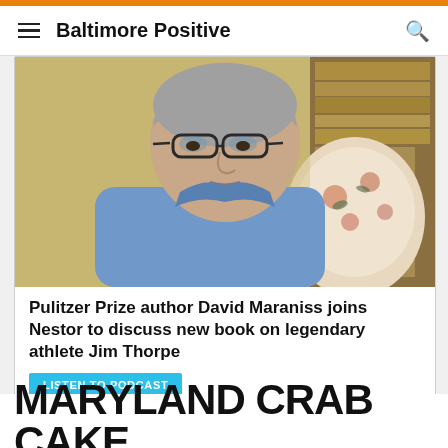Baltimore Positive
[Figure (photo): Man with gray hair and glasses wearing a light blue polo shirt, seated in front of a bookshelf and a floral armchair, appearing to be on a video call]
Pulitzer Prize author David Maraniss joins Nestor to discuss new book on legendary athlete Jim Thorpe
LISTEN TO PODCAST
MARYLAND CRAB CAKE